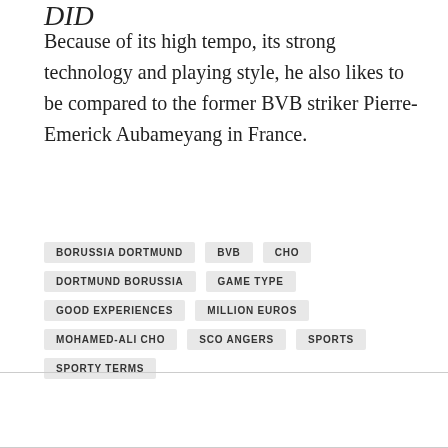DID
Because of its high tempo, its strong technology and playing style, he also likes to be compared to the former BVB striker Pierre-Emerick Aubameyang in France.
BORUSSIA DORTMUND
BVB
CHO
DORTMUND BORUSSIA
GAME TYPE
GOOD EXPERIENCES
MILLION EUROS
MOHAMED-ALI CHO
SCO ANGERS
SPORTS
SPORTY TERMS
PREVIOUS
Montenegros Sensation